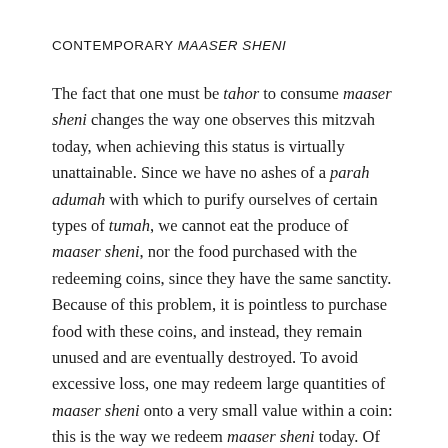CONTEMPORARY MAASER SHENI
The fact that one must be tahor to consume maaser sheni changes the way one observes this mitzvah today, when achieving this status is virtually unattainable. Since we have no ashes of a parah adumah with which to purify ourselves of certain types of tumah, we cannot eat the produce of maaser sheni, nor the food purchased with the redeeming coins, since they have the same sanctity. Because of this problem, it is pointless to purchase food with these coins, and instead, they remain unused and are eventually destroyed. To avoid excessive loss, one may redeem large quantities of maaser sheni onto a very small value within a coin: this is the way we redeem maaser sheni today. Of course, we are missing the main spiritual gain of consuming the foods in Yerushalayim, but this is one of the many